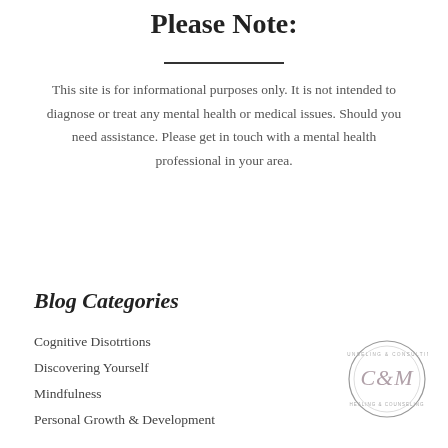Please Note:
This site is for informational purposes only. It is not intended to diagnose or treat any mental health or medical issues. Should you need assistance. Please get in touch with a mental health professional in your area.
Blog Categories
Cognitive Disotrtions
Discovering Yourself
Mindfulness
Personal Growth & Development
[Figure (logo): C&M circular logo with decorative text around the border and stylized C&M letters in the center]